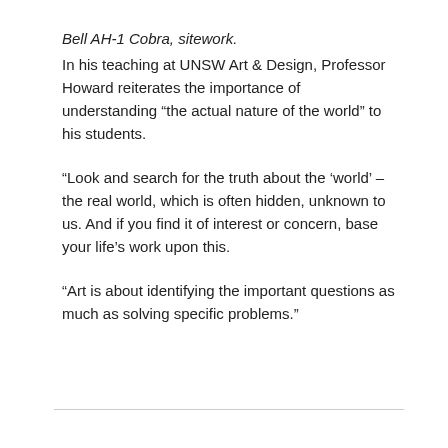Bell AH-1 Cobra, sitework.
In his teaching at UNSW Art & Design, Professor Howard reiterates the importance of understanding “the actual nature of the world” to his students.
“Look and search for the truth about the ‘world’ – the real world, which is often hidden, unknown to us. And if you find it of interest or concern, base your life’s work upon this.
“Art is about identifying the important questions as much as solving specific problems.”